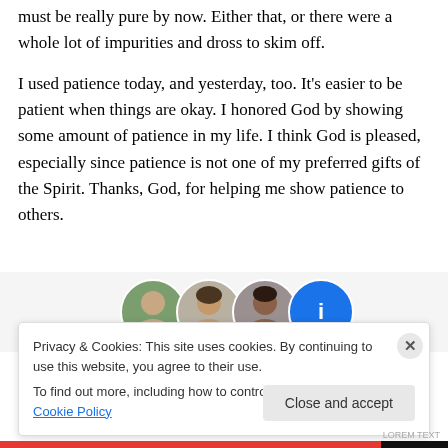must be really pure by now. Either that, or there were a whole lot of impurities and dross to skim off.
I used patience today, and yesterday, too. It's easier to be patient when things are okay. I honored God by showing some amount of patience in my life. I think God is pleased, especially since patience is not one of my preferred gifts of the Spirit. Thanks, God, for helping me show patience to others.
[Figure (photo): Row of circular avatar/profile photos partially visible at bottom of content area]
Privacy & Cookies: This site uses cookies. By continuing to use this website, you agree to their use.
To find out more, including how to control cookies, see here: Cookie Policy
Close and accept